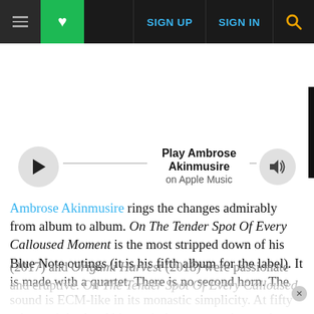SIGN UP  SIGN IN
[Figure (screenshot): Album cover image with text ON THE TENDER SPOT OF EVERY CALLOUSED MOMENT on dark background]
Play Ambrose Akinmusire on Apple Music
Ambrose Akinmusire rings the changes admirably from album to album. On The Tender Spot Of Every Calloused Moment is the most stripped down of his Blue Note outings (it is his fifth album for the label). It is made with a quartet. There is no second horn. The sound is ECM-like in its monastic simplicity. At fifty minutes it is also Akinmusire's most concise work to date. And while substantial portions of The Imagined Savior Is Far Easier To Paint (2014), A Rift In Decorum (2017) and Origami Harvest (2018) were passionate and eruptive. On The Tender Spot Of Every Calloused